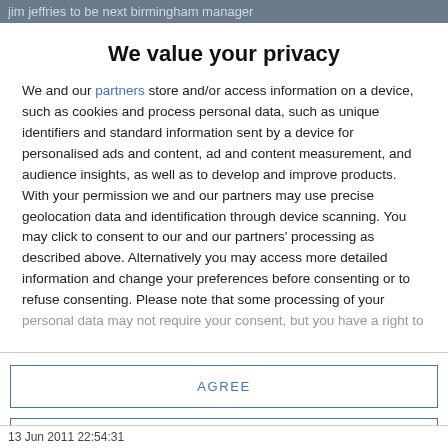jim jeffries to be next birmingham manager
We value your privacy
We and our partners store and/or access information on a device, such as cookies and process personal data, such as unique identifiers and standard information sent by a device for personalised ads and content, ad and content measurement, and audience insights, as well as to develop and improve products. With your permission we and our partners may use precise geolocation data and identification through device scanning. You may click to consent to our and our partners' processing as described above. Alternatively you may access more detailed information and change your preferences before consenting or to refuse consenting. Please note that some processing of your personal data may not require your consent, but you have a right to
AGREE
MORE OPTIONS
13 Jun 2011 22:54:31